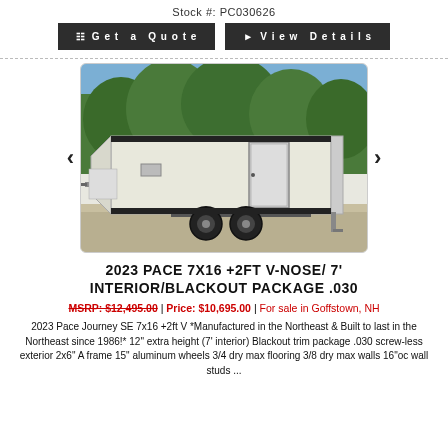Stock #: PC030626
Get a Quote | View Details
[Figure (photo): White enclosed cargo trailer (2023 Pace Journey SE 7x16 +2ft V-Nose) parked outdoors with trees in background, dual axle with black wheels]
2023 PACE 7X16 +2FT V-NOSE/ 7' INTERIOR/BLACKOUT PACKAGE .030
MSRP: $12,495.00 | Price: $10,695.00 | For sale in Goffstown, NH
2023 Pace Journey SE 7x16 +2ft V *Manufactured in the Northeast & Built to last in the Northeast since 1986!* 12" extra height (7' interior) Blackout trim package .030 screw-less exterior 2x6" A frame 15" aluminum wheels 3/4 dry max flooring 3/8 dry max walls 16"oc wall studs ...